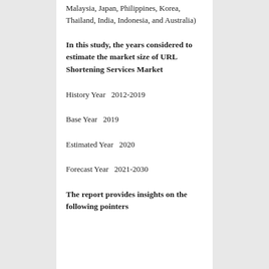Malaysia, Japan, Philippines, Korea, Thailand, India, Indonesia, and Australia)
In this study, the years considered to estimate the market size of URL Shortening Services Market
History Year  2012-2019
Base Year  2019
Estimated Year  2020
Forecast Year  2021-2030
The report provides insights on the following pointers